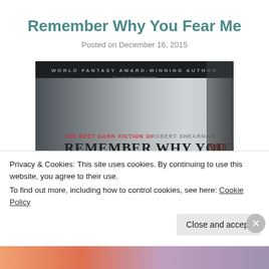Remember Why You Fear Me
Posted on December 16, 2015
[Figure (photo): Book cover for 'Remember Why You Fear Me' by Robert Shearman. Dark atmospheric cover with text 'WORLD FANTASY AWARD-WINNING AUTHOR', 'THE BEST DARK FICTION OF ROBERT SHEARMAN', and 'REMEMBER WHY YOU FEAR ME' over a shadowy image.]
Privacy & Cookies: This site uses cookies. By continuing to use this website, you agree to their use.
To find out more, including how to control cookies, see here: Cookie Policy